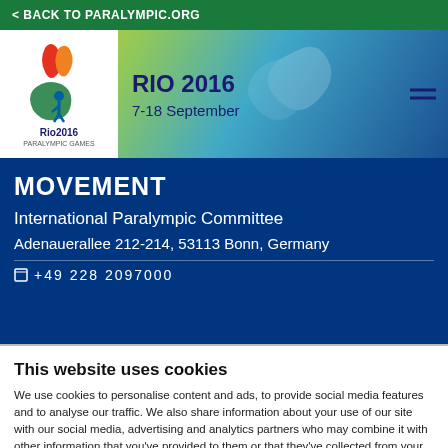< BACK TO PARALYMPIC.ORG
[Figure (screenshot): Rio 2016 Paralympic Games logo and banner with dates 7-18 September]
MOVEMENT
International Paralympic Committee
Adenauerallee 212-214, 53113 Bonn, Germany
This website uses cookies
We use cookies to personalise content and ads, to provide social media features and to analyse our traffic. We also share information about your use of our site with our social media, advertising and analytics partners who may combine it with other information that you've provided to them or that they've collected from your use of their services.
Use necessary coo  Allow selection  Allow all cookies
Necessary  Preferences  Statistics  Show details